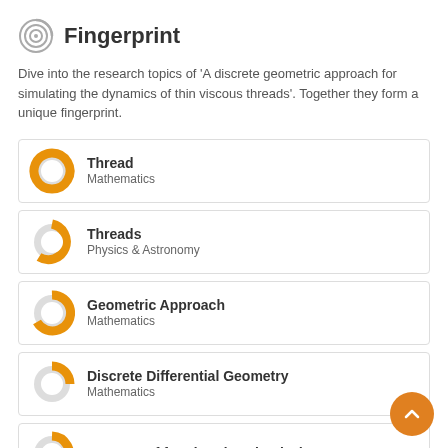Fingerprint
Dive into the research topics of 'A discrete geometric approach for simulating the dynamics of thin viscous threads'. Together they form a unique fingerprint.
Thread — Mathematics
Threads — Physics & Astronomy
Geometric Approach — Mathematics
Discrete Differential Geometry — Mathematics
Degrees of freedom (mechanics)